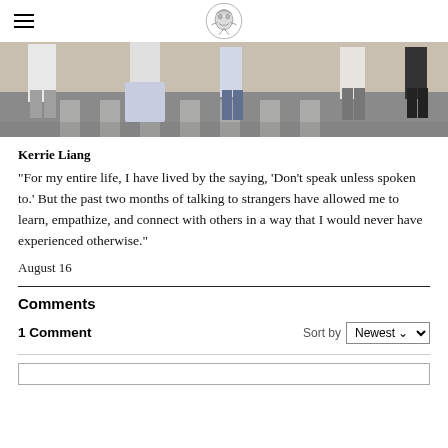[Figure (photo): Street-level photo showing pedestrians crossing a crosswalk in sunlight, seen from the waist down, with various clothing styles visible.]
Kerrie Liang
“For my entire life, I have lived by the saying, ‘Don’t speak unless spoken to.’ But the past two months of talking to strangers have allowed me to learn, empathize, and connect with others in a way that I would never have experienced otherwise.”
August 16
Comments
1 Comment
Sort by Newest